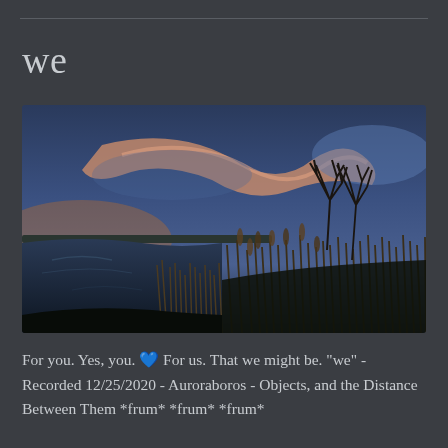we
[Figure (photo): Twilight wetland landscape with still water reflecting the sky, reeds and bare trees silhouetted on the right, dramatic pink and orange clouds swirling across a blue-purple sky]
For you. Yes, you. 💙 For us. That we might be. "we" - Recorded 12/25/2020 - Auroraboros - Objects, and the Distance Between Them *frum* *frum* *frum*